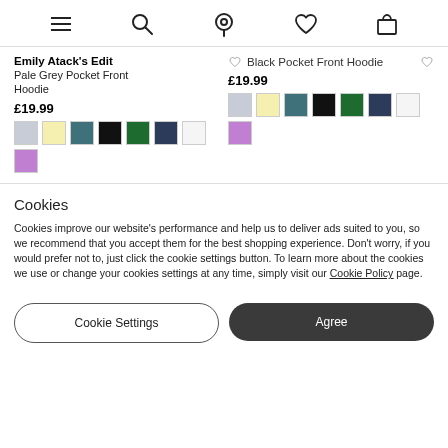[Figure (screenshot): Top navigation bar with hamburger menu, search, location pin, heart/wishlist, and bag/cart icons]
Emily Atack's Edit
Pale Grey Pocket Front Hoodie
£19.99
[Figure (other): Color swatches for left product: pale grey, yellow, teal, black, green, navy, white, purple]
Black Pocket Front Hoodie
£19.99
[Figure (other): Color swatches for right product: pale grey, yellow, teal, black, green, navy, white, purple]
Cookies
Cookies improve our website's performance and help us to deliver ads suited to you, so we recommend that you accept them for the best shopping experience. Don't worry, if you would prefer not to, just click the cookie settings button. To learn more about the cookies we use or change your cookies settings at any time, simply visit our Cookie Policy page.